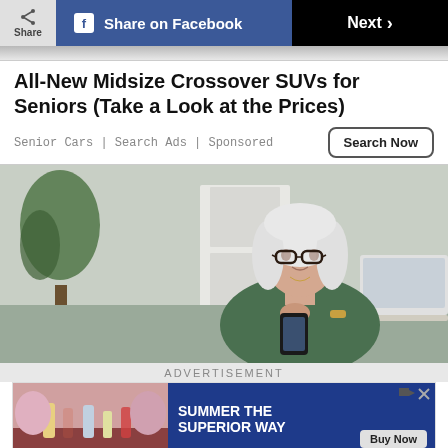Share | Share on Facebook | Next >
All-New Midsize Crossover SUVs for Seniors (Take a Look at the Prices)
Senior Cars | Search Ads | Sponsored
Search Now
[Figure (photo): Older woman with white hair and glasses looking at a smartphone, sitting at a table with a laptop, in a home kitchen/living area setting]
ADVERTISEMENT
[Figure (photo): Advertisement banner: left side shows people at a table with drinks/bottles; right side shows blue background with text 'SUMMER THE SUPERIOR WAY' and a 'Buy Now' button]